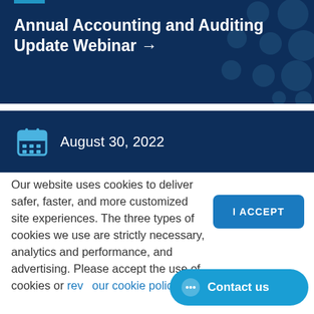Annual Accounting and Auditing Update Webinar →
August 30, 2022
Our website uses cookies to deliver safer, faster, and more customized site experiences. The three types of cookies we use are strictly necessary, analytics and performance, and advertising. Please accept the use of cookies or review our cookie policy.